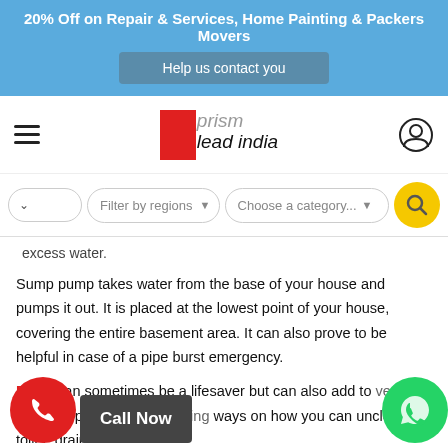20% Off on Repair & Services, Home Painting & Packers Movers
Help us contact you
[Figure (logo): Prism Lead India logo with red square block and italic text]
Filter by regions | Choose a category...
excess water.
Sump pump takes water from the base of your house and pumps it out. It is placed at the lowest point of your house, covering the entire basement area. It can also prove to be helpful in case of a pipe burst emergency.
Blogs can sometimes be a lifesaver but can also add to every... come across a plethora of blogs ...ting ways on how you can unclog your toilet, drain...
Call Now